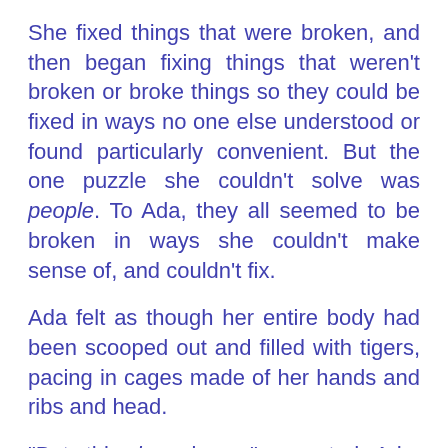She fixed things that were broken, and then began fixing things that weren't broken or broke things so they could be fixed in ways no one else understood or found particularly convenient. But the one puzzle she couldn't solve was people. To Ada, they all seemed to be broken in ways she couldn't make sense of, and couldn't fix.
Ada felt as though her entire body had been scooped out and filled with tigers, pacing in cages made of her hands and ribs and head.
"But this is science," asserted Ada. "Wondering, guessing, trying, looking at things, sorting variables, guessing again. That's how we did it. Science."